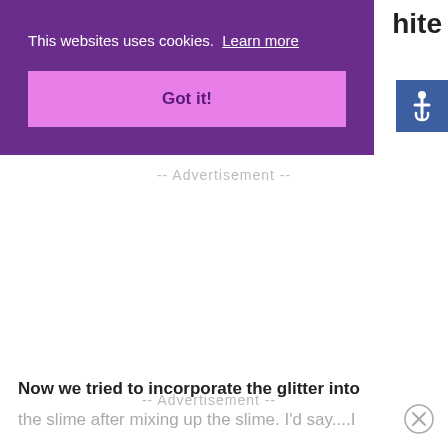hite
[Figure (illustration): Blue accessibility icon button with wheelchair symbol in white on blue background]
This websites uses cookies.  Learn more
Got it!
-- Advertisement --
-- Advertisement --
Now we tried to incorporate the glitter into the slime after mixing up the slime. I'd say....I